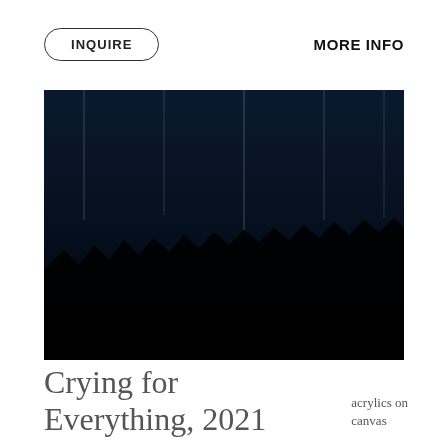INQUIRE
MORE INFO
[Figure (illustration): Abstract painting showing vertical lines of blue and teal colors descending from top against a dark/black background, resembling rain or falling streaks. The work is titled 'Crying for Everything, 2021'.]
Crying for Everything, 2021
acrylics on canvas